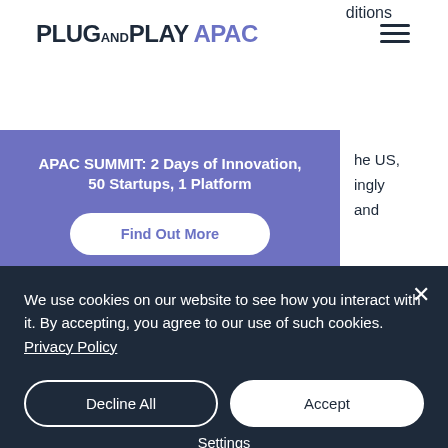PLUG and PLAY APAC
ditions
[Figure (other): Hamburger menu icon (three horizontal lines)]
APAC SUMMIT: 2 Days of Innovation, 50 Startups, 1 Platform
Find Out More
he US, ingly and
Industries
Driven by consumer needs, more and more startups are reaching unicorn status. SEA is one of the fastest-growing consumer markets in the region and increasingly natural addition to the
We use cookies on our website to see how you interact with it. By accepting, you agree to our use of such cookies. Privacy Policy
Decline All
Accept
Settings